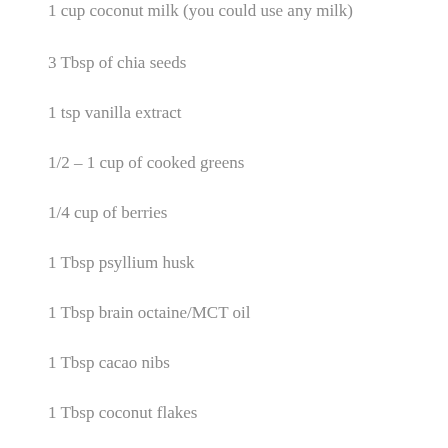1 cup coconut milk (you could use any milk)
3 Tbsp of chia seeds
1 tsp vanilla extract
1/2 – 1 cup of cooked greens
1/4 cup of berries
1 Tbsp psyllium husk
1 Tbsp brain octaine/MCT oil
1 Tbsp cacao nibs
1 Tbsp coconut flakes